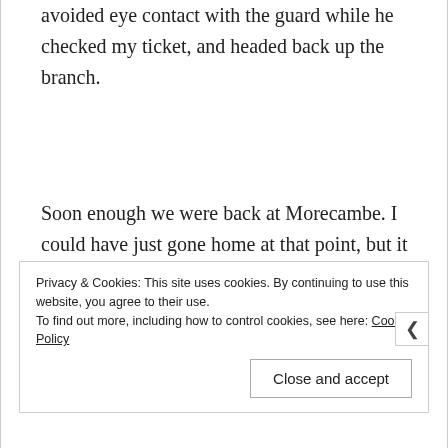avoided eye contact with the guard while he checked my ticket, and headed back up the branch.
Soon enough we were back at Morecambe. I could have just gone home at that point, but it seemed a shame to go all that way just for one station. So I decided to go to the seaside…
Privacy & Cookies: This site uses cookies. By continuing to use this website, you agree to their use.
To find out more, including how to control cookies, see here: Cookie Policy